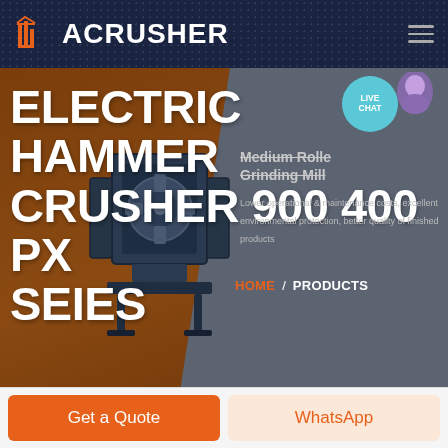[Figure (screenshot): ACRUSHER company logo with orange building/factory icon followed by bold white ACRUSHER text on dark navy background]
ELECTRIC HAMMER CRUSHER 900 400 PX SEIES
[Figure (photo): Electric hammer crusher machine photograph, dark industrial equipment on stand]
Medium Roller Grinding Mill
Lower operational & maintenance costs, excellent environmental protection, better quality of finished products
HOME / PRODUCTS
Get a Quote
WhatsApp